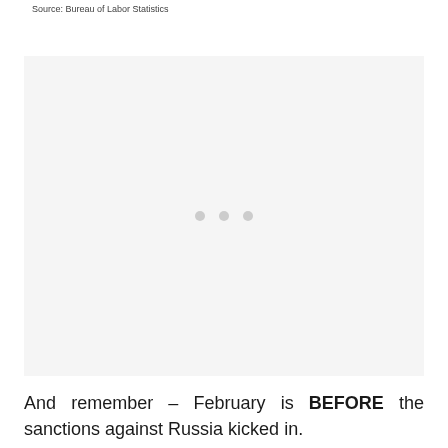Source: Bureau of Labor Statistics
[Figure (other): Loading placeholder image area with three grey dots indicating content is loading]
And remember – February is BEFORE the sanctions against Russia kicked in.